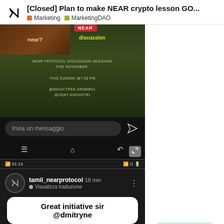[Closed] Plan to make NEAR crypto lesson GO...
[Figure (screenshot): Screenshot of a mobile messaging app showing a NEAR Protocol discussion session announcement with dark green background, text about NEAR PROTOCOL DISCUSSION-SESSIONS FOR NOVEMBER, THIS SUNDAY @7:30 PM, @MAGICTREE.ARAMBOL @UDAY.SINGH3781, with a message input bar and navigation icons]
[Figure (screenshot): Screenshot of a mobile social media app at 01:14 showing user 'tamil_nearprotocol 18 min' with Visualizza traduzione link, a white bubble message saying 'Great initiative sir @dmitryne', and a preview image with text 'Goa, Arambol, Sunday, 7:30 pm']
16 / 30